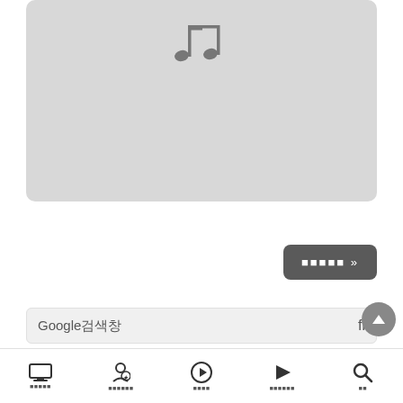[Figure (illustration): Gray rounded rectangle album art placeholder with music note icon in the center-top area]
더보기 »
Google검색창
[Figure (screenshot): Bottom navigation bar with icons: monitor/TV, person/award, play circle, play triangle, search magnifier, with Korean labels below each]
홈화면 | 수상작 | 재생목록 | 재생중 | 재생목록보기 | 검색